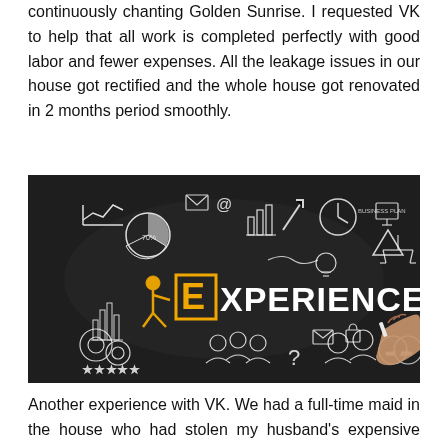continuously chanting Golden Sunrise. I requested VK to help that all work is completed perfectly with good labor and fewer expenses. All the leakage issues in our house got rectified and the whole house got renovated in 2 months period smoothly.
[Figure (photo): Chalkboard illustration with the word EXPERIENCE written in large white chalk letters, with a yellow stick figure pushing the letter E framed in yellow. The board features various chalk drawings of business and learning icons including charts, graphs, gears, people, envelopes, lightbulbs, clocks, and a hand holding chalk in the lower right corner.]
Another experience with VK. We had a full-time maid in the house who had stolen my husband's expensive watch. And